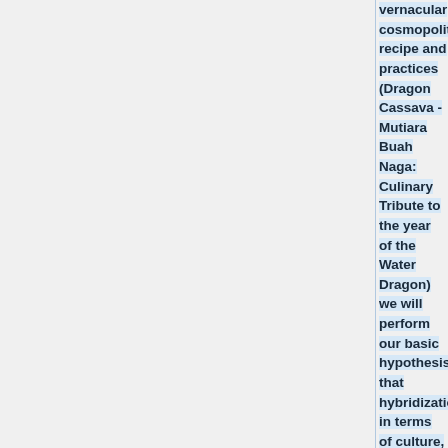vernacular cosmopolitan recipe and practices (Dragon Cassava - Mutiara Buah Naga: Culinary Tribute to the year of the Water Dragon) we will perform our basic hypothesis that hybridization in terms of culture, nature and any type of matter is the base. Food is the best material on which to show